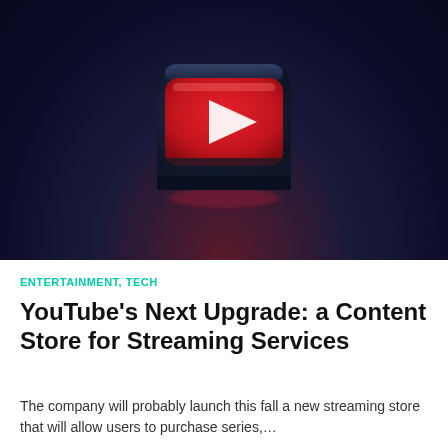[Figure (illustration): 3D YouTube play button icon — a rounded dark cube with a red play button face featuring a white triangular play arrow, set against a dark navy background with a red/pink glowing reflection beneath it.]
ENTERTAINMENT, TECH
YouTube's Next Upgrade: a Content Store for Streaming Services
The company will probably launch this fall a new streaming store that will allow users to purchase series,…